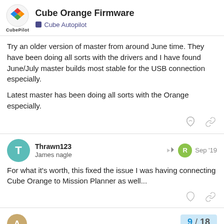Cube Orange Firmware | Cube Autopilot
Try an older version of master from around June time. They have been doing all sorts with the drivers and I have found June/July master builds most stable for the USB connection especially.

Latest master has been doing all sorts with the Orange especially.
Thrawn123
James nagle
Sep '19
For what it's worth, this fixed the issue I was having connecting Cube Orange to Mission Planner as well...
9 / 18